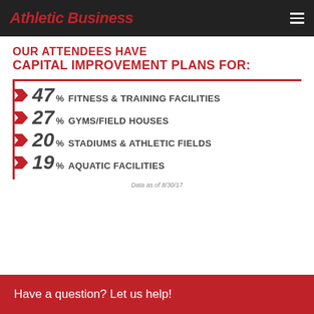Athletic Business
OUR ATTENDEES HAVE CAPITAL IMPROVEMENT PLANS FOR:
47% FITNESS & TRAINING FACILITIES
27% GYMS/FIELD HOUSES
20% STADIUMS & ATHLETIC FIELDS
19% AQUATIC FACILITIES
Data as of 8/30/17
Have a question? Let us help!